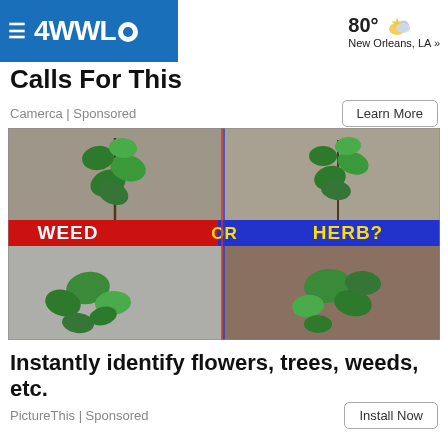4WWL | New Orleans, LA | 80°
Calls For This
Camerca | Sponsored
Learn More
[Figure (photo): Four-panel collage of plants growing in concrete cracks with red/blue banner reading WEED OR HERB?]
Instantly identify flowers, trees, weeds, etc.
PictureThis | Sponsored
Install Now